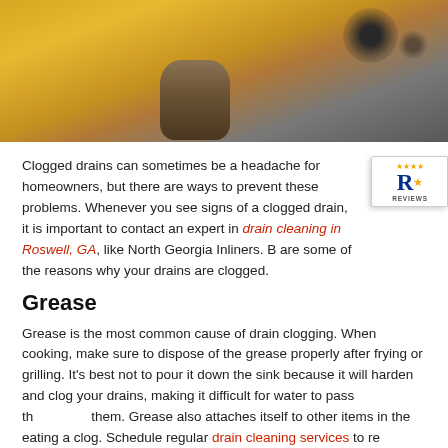[Figure (photo): Photo of person in yellow gloves/jacket holding a clump of hair/debris from a drain, with blurred dark circles in background]
Clogged drains can sometimes be a headache for homeowners, but there are ways to prevent these problems. Whenever you see signs of a clogged drain, it is important to contact an expert in drain cleaning in Roswell, GA, like North Georgia Inliners. Below are some of the reasons why your drains are clogged.
[Figure (logo): Reviews badge with stylized R logo and star, showing REVIEWS label]
Grease
Grease is the most common cause of drain clogging. When cooking, make sure to dispose of the grease properly after frying or grilling. It's best not to pour it down the sink because it will harden and clog your drains, making it difficult for water to pass through them. Grease also attaches itself to other items in the drain, creating a clog. Schedule regular drain cleaning services to remove grease clogs in your drains. We specialize in drain cleaning...